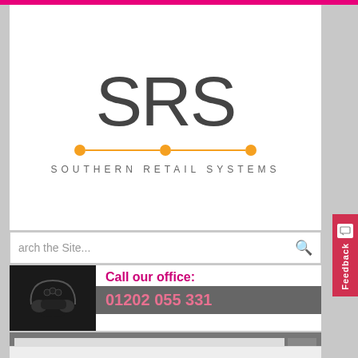[Figure (logo): SRS Southern Retail Systems logo with large stylized S R S letters in dark grey, an orange dot-line-dot graphic beneath, and the text SOUTHERN RETAIL SYSTEMS in spaced caps]
[Figure (screenshot): Search bar with placeholder text 'arch the Site...' and a search icon]
[Figure (screenshot): Call our office section with vintage telephone image, pink text 'Call our office:', and phone number '01202 055 331' on grey background]
[Figure (screenshot): Navigation dropdown bar with grey background and dropdown button with down arrow]
Category "New Products"
Home » Archive of Category "New Products"